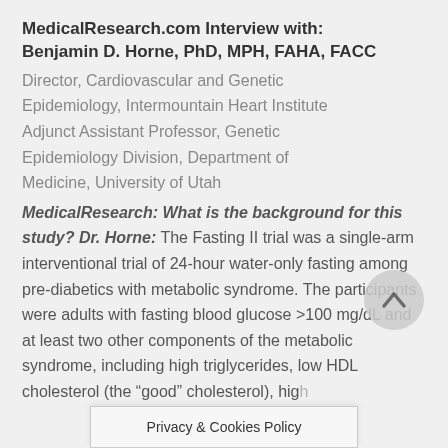MedicalResearch.com Interview with: Benjamin D. Horne, PhD, MPH, FAHA, FACC
Director, Cardiovascular and Genetic Epidemiology, Intermountain Heart Institute Adjunct Assistant Professor, Genetic Epidemiology Division, Department of Medicine, University of Utah
MedicalResearch: What is the background for this study? Dr. Horne: The Fasting II trial was a single-arm interventional trial of 24-hour water-only fasting among pre-diabetics with metabolic syndrome. The participants were adults with fasting blood glucose >100 mg/dL and at least two other components of the metabolic syndrome, including high triglycerides, low HDL cholesterol (the “good” cholesterol), high
Privacy & Cookies Policy